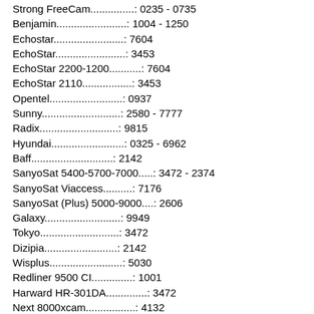Strong FreeCam...............: 0235 - 0735
Benjamin........................: 1004 - 1250
Echostar........................: 7604
EchoStar........................: 3453
EchoStar 2200-1200...........: 7604
EchoStar 2110.................: 3453
Opentel.........................: 0937
Sunny...........................: 2580 - 7777
Radix...........................: 9815
Hyundai.........................: 0325 - 6962
Baff............................: 2142
SanyoSat 5400-5700-7000.....: 3472 - 2374
SanyoSat Viaccess..........: 7176
SanyoSat (Plus) 5000-9000....: 2606
Galaxy..........................: 9949
Tokyo...........................: 3472
Dizipia.........................: 2142
Wisplus.........................: 5030
Redliner 9500 CI..............: 1001
Harward HR-301DA..............: 3472
Next 8000xcam.................: 4132
Next gri seri..................: 0000
Next plus serisi..............: 8503
Next 5000 serisi..............: 1234 - 1004
Next siyah seri...............: 0000